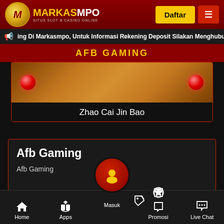MARKASMPO - SITUS SLOT & CASINO ONLINE
ing Di Markasmpo, Untuk Informasi Rekening Deposit Silakan Menghubung
AFB GAMING
[Figure (screenshot): Game card showing Zhao Cai Jin Bao slot game with red lanterns on a golden-orange background]
Zhao Cai Jin Bao
Afb Gaming
Afb Gaming
Home | Apps | Masuk | Promosi | Live Chat